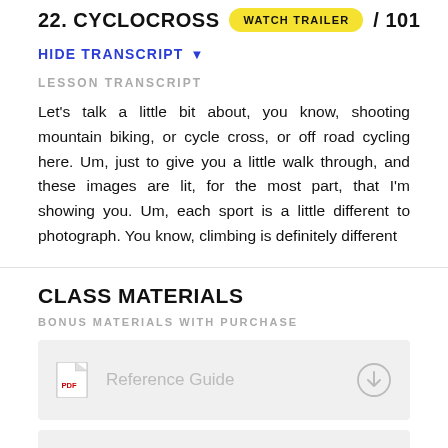22. CYCLOCROSS / 101
HIDE TRANSCRIPT ▾
LESSON TRANSCRIPT
Let's talk a little bit about, you know, shooting mountain biking, or cycle cross, or off road cycling here. Um, just to give you a little walk through, and these images are lit, for the most part, that I'm showing you. Um, each sport is a little different to photograph. You know, climbing is definitely different
CLASS MATERIALS
BONUS MATERIALS WITH PURCHASE
Reference Guide